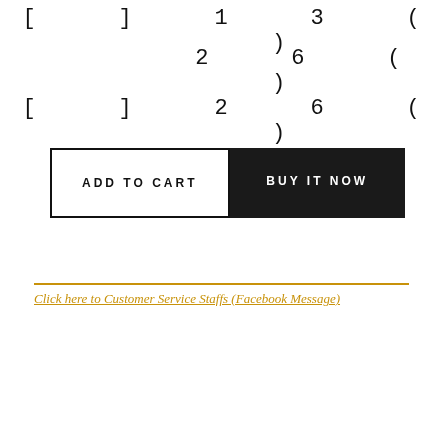[ ] 1 3 ( )
2 6 ( )
[ ] 2 6 ( )
ADD TO CART
BUY IT NOW
Click here to Customer Service Staffs (Facebook Message)